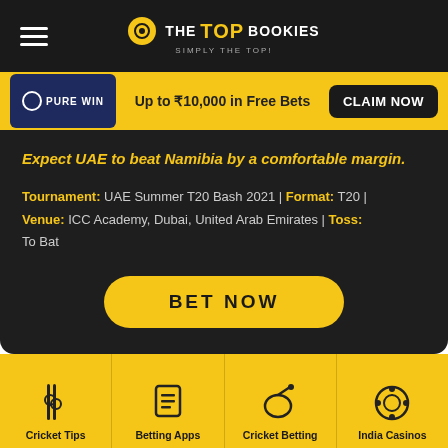THE TOP BOOKIES — SIMPLY THE TOP!
[Figure (infographic): Pure Win promotional banner: Up to ₹10,000 in Free Bets with CLAIM NOW button]
Expect UAE to beat Namibia by a comfortable margin.
Tournament: UAE Summer T20 Bash 2021 | Format: T20 | Venue: ICC Academy, Dubai, United Arab Emirates | Toss: To Bat
BET NOW
Cricket Tips | Betting Apps | Cricket Betting | India Casinos